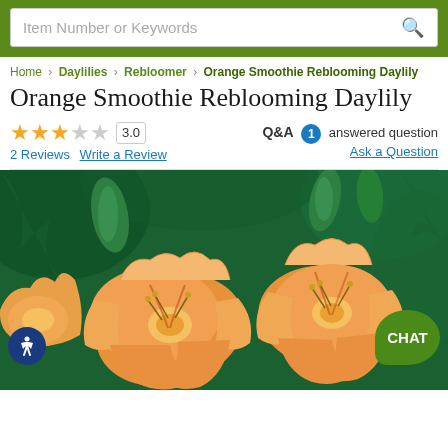Item Number or Keywords [search bar]
Home › Daylilies › Rebloomer › Orange Smoothie Reblooming Daylily
Orange Smoothie Reblooming Daylily
★★★☆☆ 3.0 — 2 Reviews  Write a Review — Q&A 1 answered question  Ask a Question
[Figure (photo): Close-up photograph of Orange Smoothie Reblooming Daylily flowers — large, ruffled orange and peach blooms with yellow and red streaks, against a green foliage background. A CHAT button appears at bottom right and an accessibility icon at bottom left.]